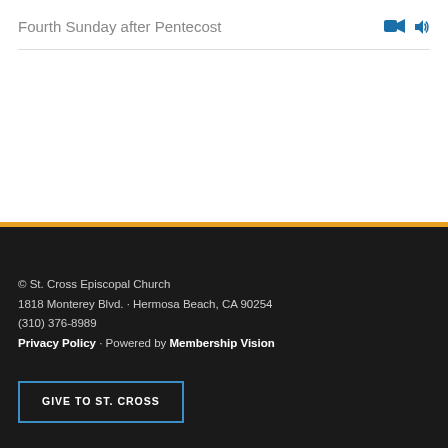Fourth Sunday after Pentecost
© St. Cross Episcopal Church
1818 Monterey Blvd. · Hermosa Beach, CA 90254
(310) 376-8989
Privacy Policy · Powered by Membership Vision
GIVE TO ST. CROSS